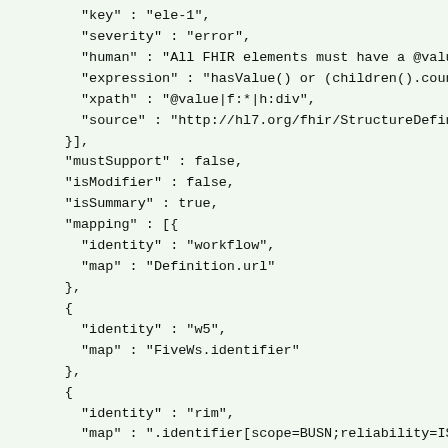JSON/FHIR StructureDefinition code block showing key, severity, human, expression, xpath, source, mustSupport, isModifier, isSummary, mapping fields and Measure.identifier object